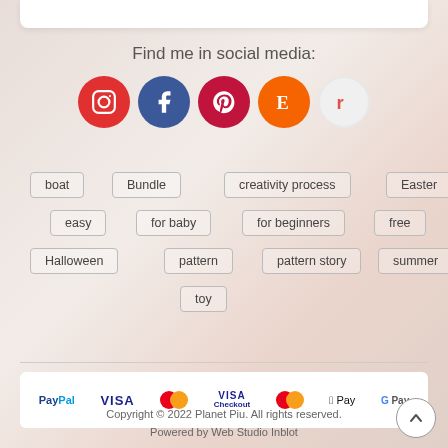Find me in social media:
[Figure (infographic): Social media icons: Instagram (red circle), Facebook (blue circle), Pinterest (dark red circle), Etsy (orange circle), Ravelry (white/light circle)]
boat
Bundle
creativity process
Easter
easy
for baby
for beginners
free
Halloween
pattern
pattern story
summer
toy
[Figure (infographic): Payment method logos: PayPal, VISA, Mastercard, VISA Checkout, Mastercard, Apple Pay, G Pay]
Copyright © 2022 Planet Piu. All rights reserved. Powered by Web Studio Inblot